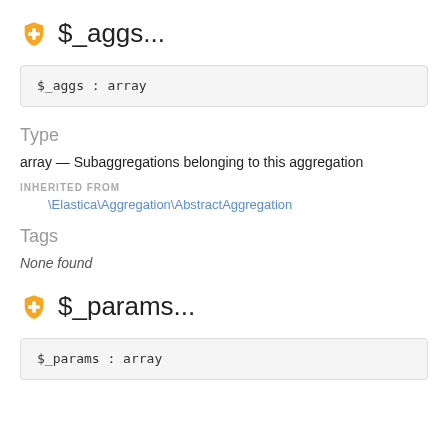$_aggs...
$_aggs : array
Type
array — Subaggregations belonging to this aggregation
INHERITED FROM
\Elastica\Aggregation\AbstractAggregation
Tags
None found
$_params...
$_params : array